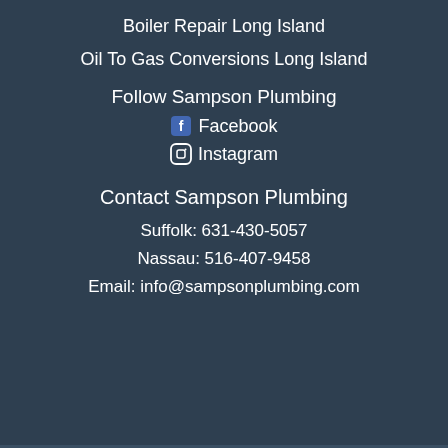Boiler Repair Long Island
Oil To Gas Conversions Long Island
Follow Sampson Plumbing
Facebook
Instagram
Contact Sampson Plumbing
Suffolk: 631-430-5057
Nassau: 516-407-9458
Email: info@sampsonplumbing.com